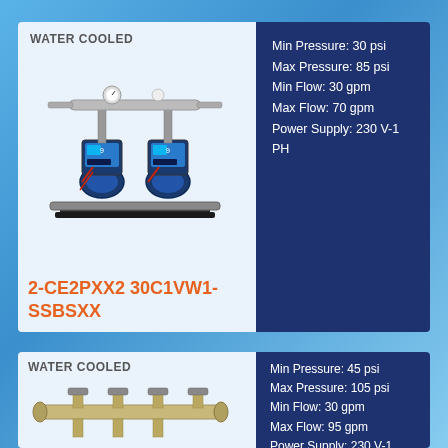WATER COOLED
[Figure (photo): Water-cooled pump system with two vertical pumps mounted on a black base frame with horizontal manifold pipes and pressure gauges on top.]
2-CE2PXX2 30C1VW1-SSBSXX
Min Pressure: 30 psi
Max Pressure: 85 psi
Min Flow: 30 gpm
Max Flow: 70 gpm
Power Supply: 230 V-1 PH
WATER COOLED
[Figure (photo): Water-cooled pump system with horizontal manifold pipe assembly and valves, partially visible.]
Min Pressure: 45 psi
Max Pressure: 105 psi
Min Flow: 30 gpm
Max Flow: 95 gpm
Power Supply: 230 V-1